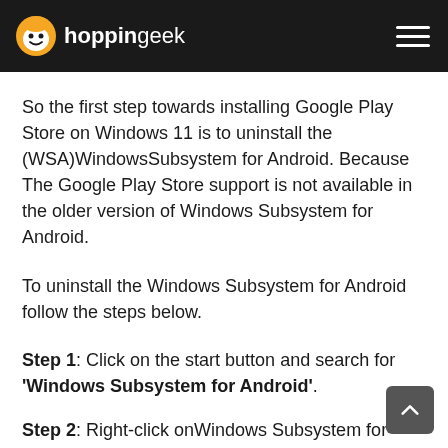hoppingeek
So the first step towards installing Google Play Store on Windows 11 is to uninstall the (WSA)WindowsSubsystem for Android. Because The Google Play Store support is not available in the older version of Windows Subsystem for Android.
To uninstall the Windows Subsystem for Android follow the steps below.
Step 1: Click on the start button and search for 'Windows Subsystem for Android'.
Step 2: Right-click onWindows Subsystem for